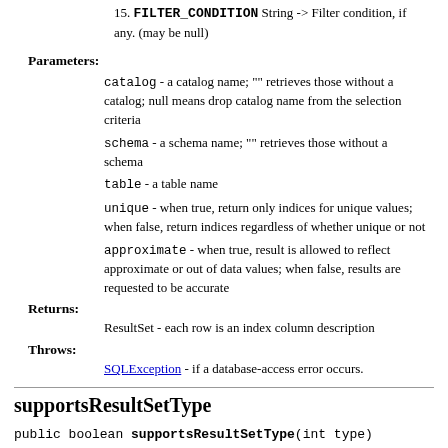15. FILTER_CONDITION String -> Filter condition, if any. (may be null)
Parameters:
catalog - a catalog name; "" retrieves those without a catalog; null means drop catalog name from the selection criteria
schema - a schema name; "" retrieves those without a schema
table - a table name
unique - when true, return only indices for unique values; when false, return indices regardless of whether unique or not
approximate - when true, result is allowed to reflect approximate or out of data values; when false, results are requested to be accurate
Returns:
ResultSet - each row is an index column description
Throws:
SQLException - if a database-access error occurs.
supportsResultSetType
public boolean supportsResultSetType(int type)
                        throws SQLException